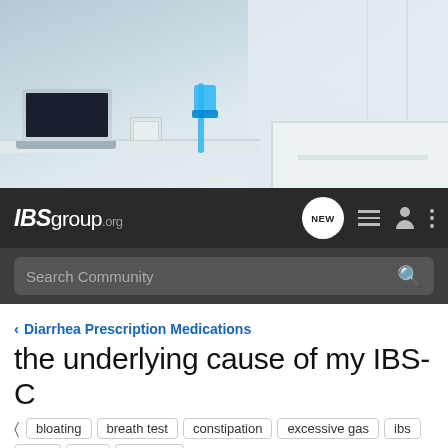[Figure (photo): Hero banner showing a modern white office desk with laptop, blue chair, and white table edge on the right side with soft natural lighting]
IBSgroup.org — navigation bar with NEW, list, person, and more icons, plus Search Community search bar
< Diarrhea Prescription Medications
the underlying cause of my IBS-C
bloating  breath test  constipation  excessive gas  ibs  ibs-c  sibo  xifanxan
→ Jump to Latest    + Follow
1 - 3 of 3 Posts